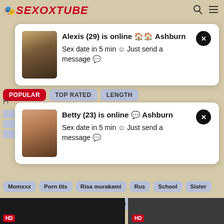SEXOXTUBE
[Figure (screenshot): Popup notification 1: photo of woman, text 'Alexis (29) is online Ashburn Sex date in 5 min Just send a message' with close button]
POPULAR   TOP RATED   LENGTH
[Figure (screenshot): Popup notification 2: photo of woman, text 'Betty (23) is online Ashburn Sex date in 5 min Just send a message' with close button]
Momxxx  Porn tits  Risa murakami  Rus  School  Sister
Sleeping  Squinting  Vintage meture  ایرانی
https://pornopisa.com/categories
https://www.yaeby.pro/categories/   секс порно онлайн смотреть порно видео    www.mecum.porn
[Figure (screenshot): Two HD video thumbnails at bottom of page]